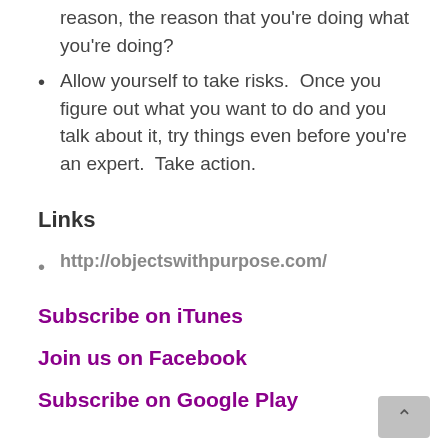reason, the reason that you're doing what you're doing?
Allow yourself to take risks.  Once you figure out what you want to do and you talk about it, try things even before you're an expert.  Take action.
Links
http://objectswithpurpose.com/
Subscribe on iTunes
Join us on Facebook
Subscribe on Google Play